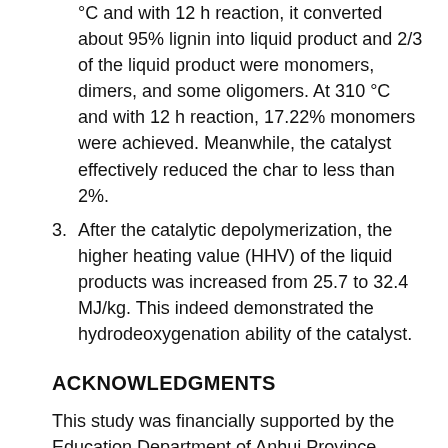°C and with 12 h reaction, it converted about 95% lignin into liquid product and 2/3 of the liquid product were monomers, dimers, and some oligomers. At 310 °C and with 12 h reaction, 17.22% monomers were achieved. Meanwhile, the catalyst effectively reduced the char to less than 2%.
3. After the catalytic depolymerization, the higher heating value (HHV) of the liquid products was increased from 25.7 to 32.4 MJ/kg. This indeed demonstrated the hydrodeoxygenation ability of the catalyst.
ACKNOWLEDGMENTS
This study was financially supported by the Education Department of Anhui Province (Grant No. KJ2020A0279), the National Natural Science Foundation of China (Grant No. 51976212), the